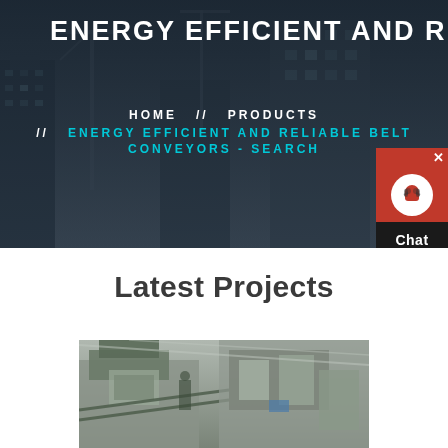[Figure (photo): Hero banner showing construction site with tall buildings and cranes at dusk, dark overlay applied]
ENERGY EFFICIENT AND RELIABLE BELT CONVEYORS - SEARCH
HOME // PRODUCTS // ENERGY EFFICIENT AND RELIABLE BELT CONVEYORS - SEARCH
[Figure (illustration): Red chat support widget with headset icon, X close button, and 'Chat Now' label on dark background]
Latest Projects
[Figure (photo): Industrial conveyor belt or mining/processing machinery inside a large warehouse facility]